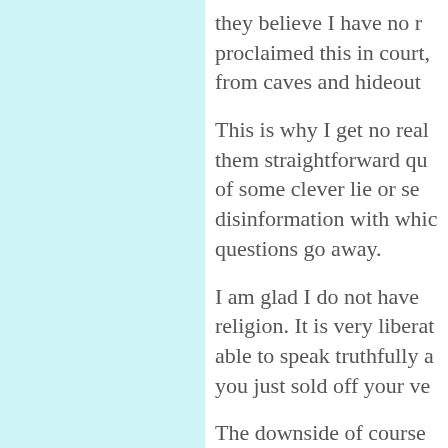they believe I have no r... proclaimed this in court, from caves and hideout...
This is why I get no real... them straightforward qu... of some clever lie or se... disinformation with whic... questions go away.
I am glad I do not have... religion. It is very liberat... able to speak truthfully a... you just sold off your ve...
The downside of course... great passion by those... deceit and evil schemes... for defying them as long... of trying to harm you am...